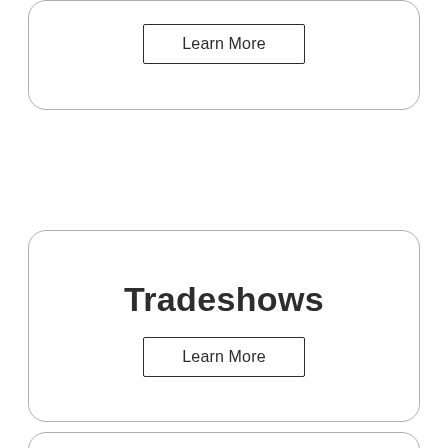Learn More
Tradeshows
Learn More
Education